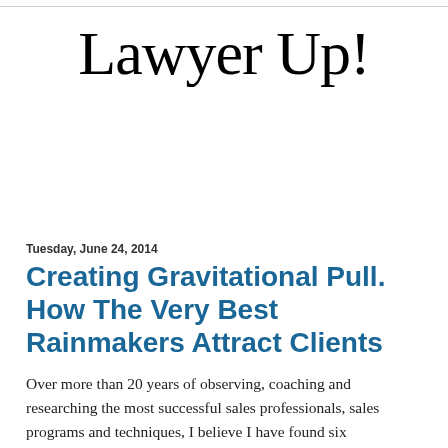Lawyer Up!
Tuesday, June 24, 2014
Creating Gravitational Pull. How The Very Best Rainmakers Attract Clients
Over more than 20 years of observing, coaching and researching the most successful sales professionals, sales programs and techniques, I believe I have found six characteristics common among the most successful rainmakers. They share competencies